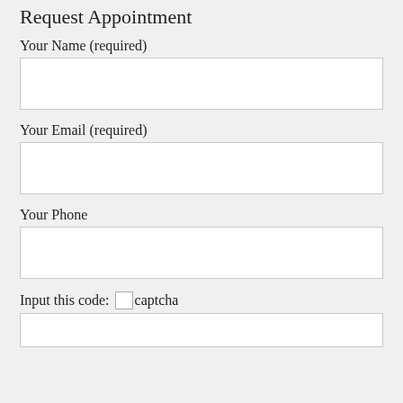Request Appointment
Your Name (required)
Your Email (required)
Your Phone
Input this code: captcha